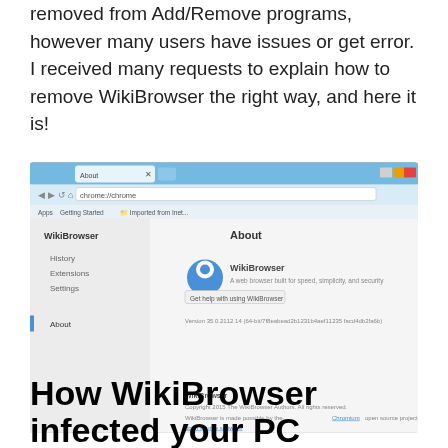removed from Add/Remove programs, however many users have issues or get error. I received many requests to explain how to remove WikiBrowser the right way, and here it is!
[Figure (screenshot): Screenshot of WikiBrowser About page in a Chrome-like browser. Shows WikiBrowser logo and name, description 'A web browser built for speed, simplicity, and security', a 'Get help with using WikiBrowser' button, version string, sidebar with History/Extensions/Settings/About, and copyright 2015 notice.]
How WikiBrowser infected your PC